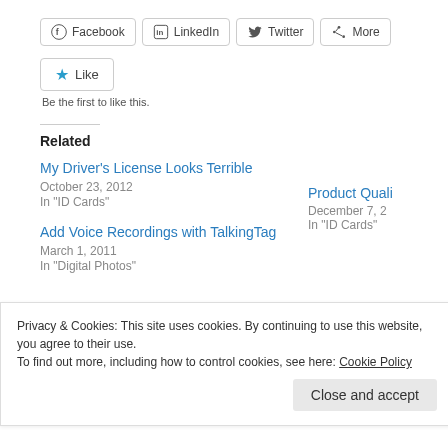[Figure (screenshot): Social share buttons row: Facebook, LinkedIn, Twitter, More]
[Figure (screenshot): Like button with star icon]
Be the first to like this.
Related
My Driver's License Looks Terrible
October 23, 2012
In "ID Cards"
Product Quali...
December 7, 2...
In "ID Cards"
Add Voice Recordings with TalkingTag
March 1, 2011
In "Digital Photos"
Privacy & Cookies: This site uses cookies. By continuing to use this website, you agree to their use.
To find out more, including how to control cookies, see here: Cookie Policy
Close and accept